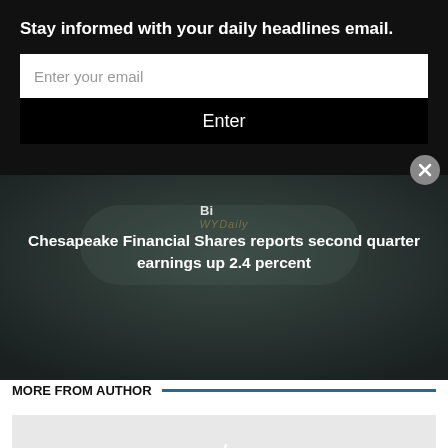Stay informed with your daily headlines email.
Enter your email
Enter
Chesapeake Financial Shares reports second quarter earnings up 2.4 percent
MORE FROM AUTHOR
[Figure (logo): Coffee cup logo with checkered red and white pattern, text reads Aromas at bottom]